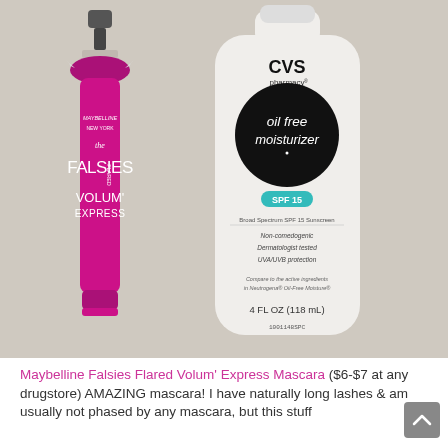[Figure (photo): Photo of two beauty products side by side on a beige/tan background: a pink Maybelline Falsies Flared Volum' Express mascara tube on the left, and a white CVS pharmacy oil free moisturizer SPF 15 bottle on the right showing label details including 'Non-comedogenic, Dermatologist tested, UVA/UVB protection', '4 FL OZ (118 mL)', and barcode.]
Maybelline Falsies Flared Volum' Express Mascara ($6-$7 at any drugstore) AMAZING mascara! I have naturally long lashes & am usually not phased by any mascara, but this stuff